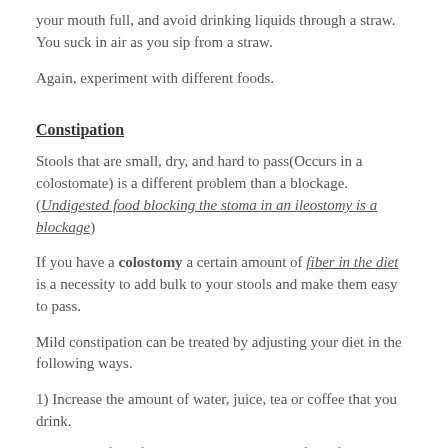your mouth full, and avoid drinking liquids through a straw. You suck in air as you sip from a straw.
Again, experiment with different foods.
Constipation
Stools that are small, dry, and hard to pass(Occurs in a colostomate) is a different problem than a blockage. (Undigested food blocking the stoma in an ileostomy is a blockage)
If you have a colostomy a certain amount of fiber in the diet is a necessity to add bulk to your stools and make them easy to pass.
Mild constipation can be treated by adjusting your diet in the following ways.
1) Increase the amount of water, juice, tea or coffee that you drink.
2) Eat high fiber foods: Wheat bran cereals, fresh fruit, and